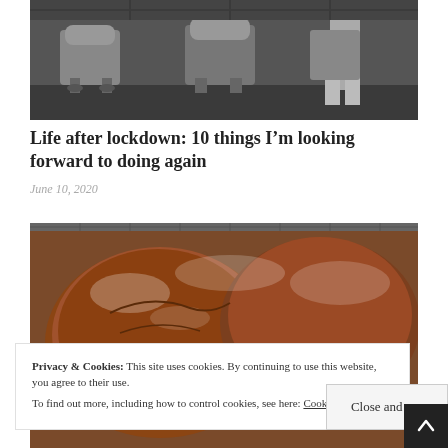[Figure (photo): Black and white photo of a barber shop interior with barber chairs and a person standing]
Life after lockdown: 10 things I’m looking forward to doing again
June 10, 2020
[Figure (photo): Close-up photo of a rustic sourdough bread loaf dusted with flour]
Privacy & Cookies: This site uses cookies. By continuing to use this website, you agree to their use.
To find out more, including how to control cookies, see here: Cookie Policy
Close and acc